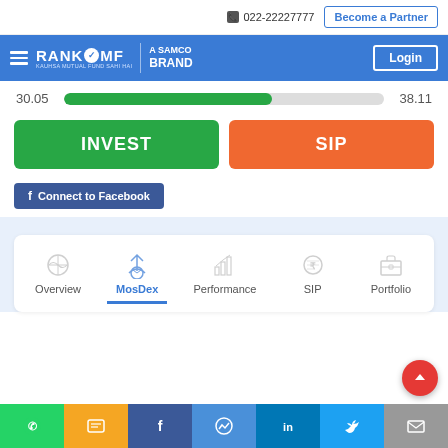022-22227777 | Become a Partner
[Figure (screenshot): RankMF navigation bar with logo, hamburger menu, A SAMCO BRAND text, and Login button on blue background]
30.05   38.11
INVEST
SIP
Connect to Facebook
Overview | MosDex | Performance | SIP | Portfolio
WhatsApp | SMS | Facebook | Messenger | LinkedIn | Twitter | Email